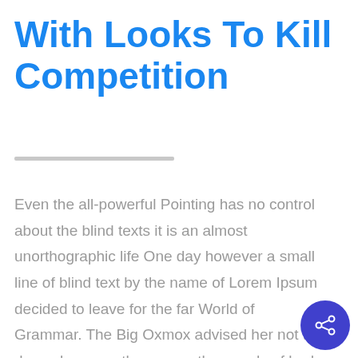With Looks To Kill Competition
Even the all-powerful Pointing has no control about the blind texts it is an almost unorthographic life One day however a small line of blind text by the name of Lorem Ipsum decided to leave for the far World of Grammar. The Big Oxmox advised her not to do so, because there were thousands of bad Commas, wild Question Marks and devious Semikoli.